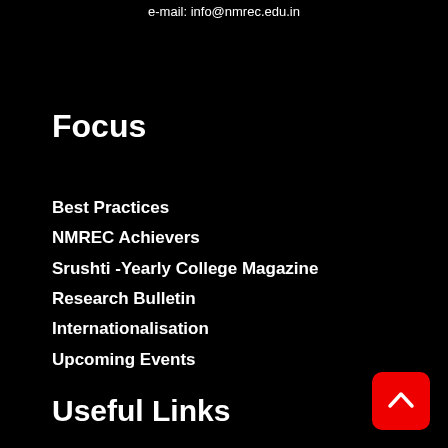e-mail: info@nmrec.edu.in
Focus
Best Practices
NMREC Achievers
Srushti -Yearly College Magazine
Research Bulletin
Internationalisation
Upcoming Events
Useful Links